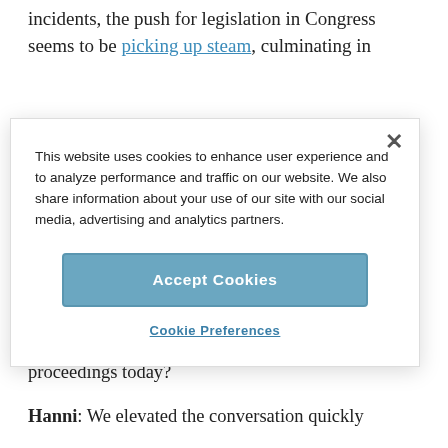incidents, the push for legislation in Congress seems to be picking up steam, culminating in
This website uses cookies to enhance user experience and to analyze performance and traffic on our website. We also share information about your use of our site with our social media, advertising and analytics partners.
Accept Cookies
Cookie Preferences
Unger: First of all, can you provide a recap of the proceedings today?
Hanni: We elevated the conversation quickly